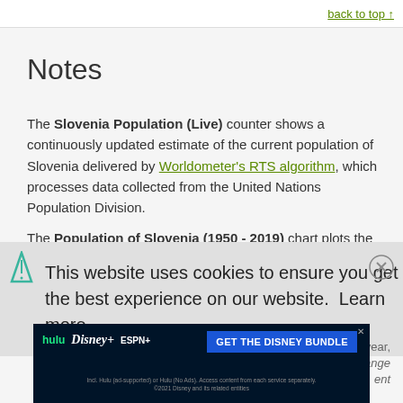back to top ↑
Notes
The Slovenia Population (Live) counter shows a continuously updated estimate of the current population of Slovenia delivered by Worldometer's RTS algorithm, which processes data collected from the United Nations Population Division.
The Population of Slovenia (1950 - 2019) chart plots the total population count as of July 1 of each year, from 1950 to 2019.
This website uses cookies to ensure you get the best experience on our website.  Learn more
[Figure (other): Hulu Disney+ ESPN+ GET THE DISNEY BUNDLE advertisement banner. Incl. Hulu (ad-supported) or Hulu (No Ads). Access content from each service separately. ©2021 Disney and its related entities]